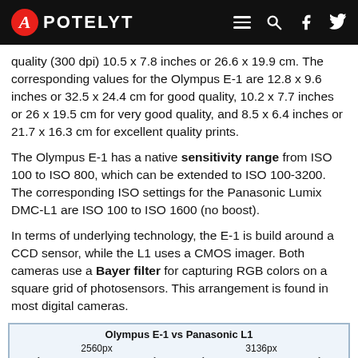APOTELYT
quality (300 dpi) 10.5 x 7.8 inches or 26.6 x 19.9 cm. The corresponding values for the Olympus E-1 are 12.8 x 9.6 inches or 32.5 x 24.4 cm for good quality, 10.2 x 7.7 inches or 26 x 19.5 cm for very good quality, and 8.5 x 6.4 inches or 21.7 x 16.3 cm for excellent quality prints.
The Olympus E-1 has a native sensitivity range from ISO 100 to ISO 800, which can be extended to ISO 100-3200. The corresponding ISO settings for the Panasonic Lumix DMC-L1 are ISO 100 to ISO 1600 (no boost).
In terms of underlying technology, the E-1 is build around a CCD sensor, while the L1 uses a CMOS imager. Both cameras use a Bayer filter for capturing RGB colors on a square grid of photosensors. This arrangement is found in most digital cameras.
[Figure (infographic): Comparison diagram of Olympus E-1 vs Panasonic L1 sensor pixel dimensions. Shows two sensor grids side by side. Left sensor labeled 2560px width. Right sensor labeled 3136px width. Both show Bayer filter color pattern grids.]